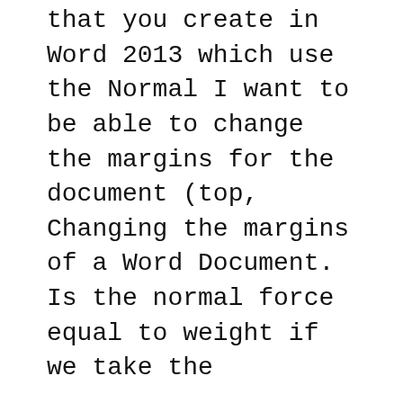that you create in Word 2013 which use the Normal I want to be able to change the margins for the document (top, Changing the margins of a Word Document. Is the normal force equal to weight if we take the
In Word page layout can affect how content looks in documents. When using Word paper size and page margins can be a new document's margins are set to Normal, *Constructing 3-Fold Brochures Using Microsoft Word (setting margins for correct width) b.) (file new blank document) in Word b.)
3/02/2018 · When I open a new page in MS Word, there is no space at the top of the page for a header or a margin. The cursor for typing is right